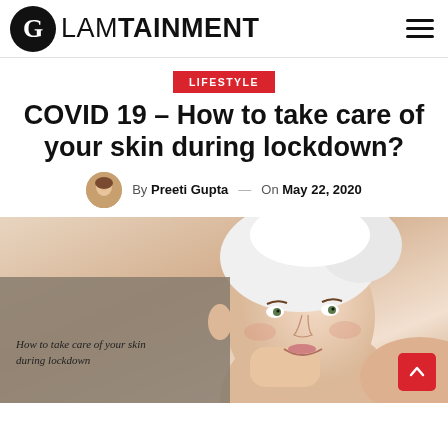GLAMTAINMENT
LIFESTYLE
COVID 19 – How to take care of your skin during lockdown?
By Preeti Gupta — On May 22, 2020
[Figure (photo): Woman with white towel on head touching her face and smiling. Text overlay reads: 'How to take care of your skin during lockdown']